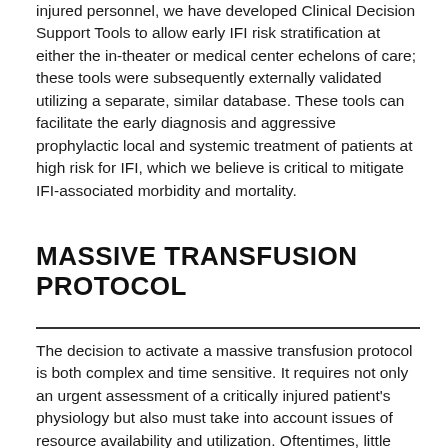injured personnel, we have developed Clinical Decision Support Tools to allow early IFI risk stratification at either the in-theater or medical center echelons of care; these tools were subsequently externally validated utilizing a separate, similar database. These tools can facilitate the early diagnosis and aggressive prophylactic local and systemic treatment of patients at high risk for IFI, which we believe is critical to mitigate IFI-associated morbidity and mortality.
MASSIVE TRANSFUSION PROTOCOL
The decision to activate a massive transfusion protocol is both complex and time sensitive. It requires not only an urgent assessment of a critically injured patient's physiology but also must take into account issues of resource availability and utilization. Oftentimes, little empiric data is available rapidly enough to assist the bedside clinician and therefore this key decision is often left to the instincts of the